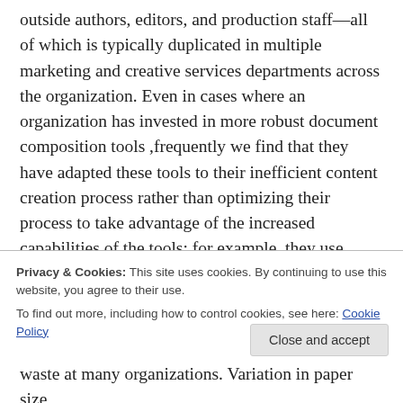outside authors, editors, and production staff—all of which is typically duplicated in multiple marketing and creative services departments across the organization. Even in cases where an organization has invested in more robust document composition tools ,frequently we find that they have adapted these tools to their inefficient content creation process rather than optimizing their process to take advantage of the increased capabilities of the tools: for example, they use templates, but have 14,000 of them in use across the enterprise...
Privacy & Cookies: This site uses cookies. By continuing to use this website, you agree to their use. To find out more, including how to control cookies, see here: Cookie Policy
Close and accept
waste at many organizations. Variation in paper size,